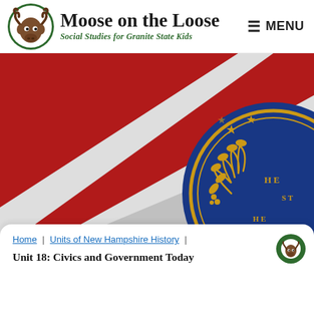Moose on the Loose — Social Studies for Granite State Kids | MENU
[Figure (photo): Close-up photograph of an American flag with red and white stripes and a New Hampshire state seal visible on a blue background with gold laurel branches and stars]
Home | Units of New Hampshire History |
Unit 18: Civics and Government Today